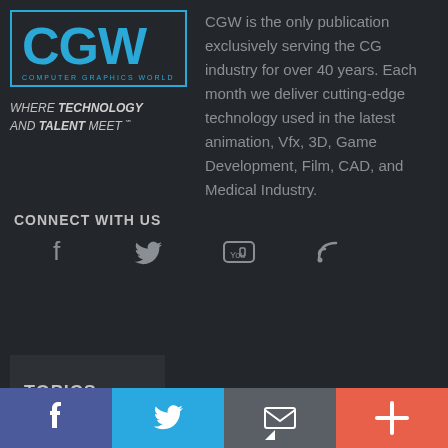[Figure (logo): CGW Computer Graphics World logo in blue on dark background with border]
WHERE TECHNOLOGY AND TALENT MEET ℠
CGW is the only publication exclusively serving the CG industry for over 40 years. Each month we deliver cutting-edge technology used in the latest animation, Vfx, 3D, Game Development, Film, CAD, and Medical Industry.
CONNECT WITH US
[Figure (infographic): Social media icons: Facebook, Twitter, YouTube, RSS feed]
TOPICS
[Figure (infographic): Bottom bar with Facebook, Twitter, Email, and Plus icons in colored bands]